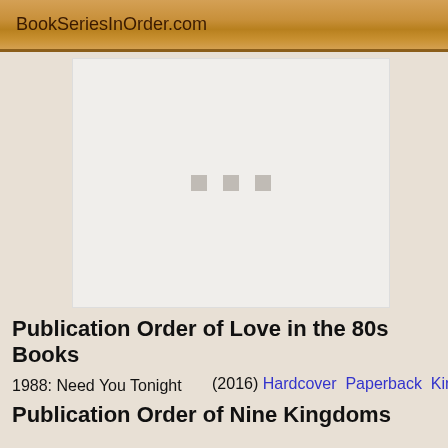BookSeriesInOrder.com
[Figure (other): Advertisement placeholder with three gray squares centered on white background]
Publication Order of Love in the 80s Books
1988: Need You Tonight (2016) Hardcover Paperback Kindle
Publication Order of Nine Kingdoms